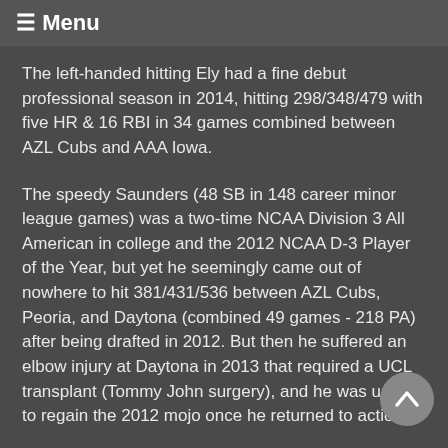≡ Menu
The left-handed hitting Ely had a fine debut professional season in 2014, hitting 298/348/479 with five HR & 16 RBI in 34 games combined between AZL Cubs and AAA Iowa.
The speedy Saunders (48 SB in 148 career minor league games) was a two-time NCAA Division 3 All American in college and the 2012 NCAA D-3 Player of the Year, but yet he seemingly came out of nowhere to hit 381/431/536 between AZL Cubs, Peoria, and Daytona (combined 49 games - 218 PA) after being drafted in 2012. But then he suffered an elbow injury at Daytona in 2013 that required a UCL transplant (Tommy John surgery), and he was unable to regain the 2012 mojo once he returned to action.
The 24-year old Saunders retired last June, but decided to try it again this season. He reported to Minor League Camp in March but was left behind at Extended Spring Training. He still shows plus-speed on the bases and versatility and range in the field, and he still has a good eye at the plate, but he hit only 154/313/231 in